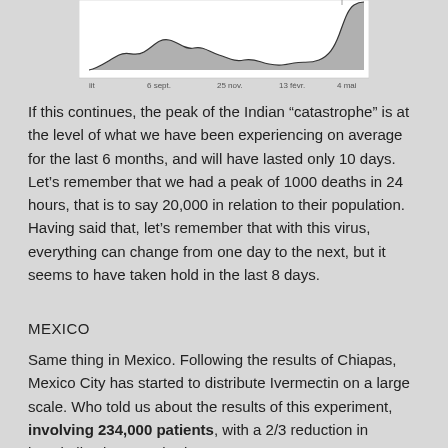[Figure (continuous-plot): Line/area chart showing COVID-19 data over time with x-axis labels: iit, 6 sept., 25 nov., 13 févr., 4 mai. The chart shows a wave pattern with a sharp rise at the right end.]
If this continues, the peak of the Indian “catastrophe” is at the level of what we have been experiencing on average for the last 6 months, and will have lasted only 10 days. Let’s remember that we had a peak of 1000 deaths in 24 hours, that is to say 20,000 in relation to their population. Having said that, let’s remember that with this virus, everything can change from one day to the next, but it seems to have taken hold in the last 8 days.
MEXICO
Same thing in Mexico. Following the results of Chiapas, Mexico City has started to distribute Ivermectin on a large scale. Who told us about the results of this experiment, involving 234,000 patients, with a 2/3 reduction in hospitalisations? Nobody.
This country was remarkably followed by Enzo Lolo.